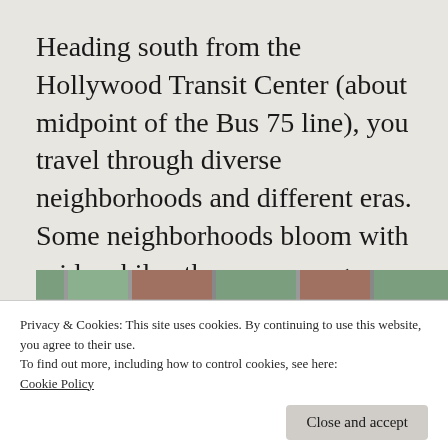Heading south from the Hollywood Transit Center (about midpoint of the Bus 75 line), you travel through diverse neighborhoods and different eras. Some neighborhoods bloom with pride while others are overgrown with apathy.
[Figure (photo): Partial view of a building exterior with brick and green-tinted windows, and a person in a red jacket visible at the bottom]
Privacy & Cookies: This site uses cookies. By continuing to use this website, you agree to their use.
To find out more, including how to control cookies, see here: Cookie Policy
Close and accept